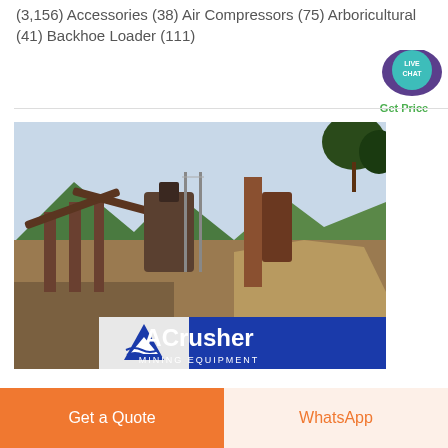(3,156) Accessories (38) Air Compressors (75) Arboricultural (41) Backhoe Loader (111)
[Figure (other): Live chat speech bubble icon with purple background and teal circle saying LIVE CHAT, with green Get Price text below]
[Figure (photo): Industrial mining / crushing plant facility with conveyor belts, machinery, mountains in background. ACrusher Mining Equipment logo banner overlaid at bottom.]
Get a Quote
WhatsApp